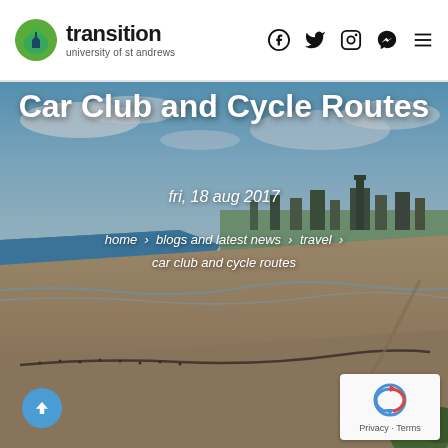transition university of st andrews
[Figure (screenshot): Aerial photograph of St Andrews beach and town coastline with sandy beach, sea, and town buildings visible in the background]
Car Club and Cycle Routes
fri, 18 aug 2017
home > blogs and latest news > travel > car club and cycle routes